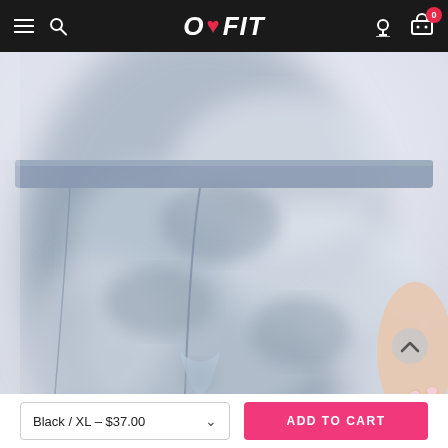O❤FIT — navigation bar with hamburger menu, search, user icon, cart (0)
[Figure (photo): Close-up rear view of a person wearing grey/silver tie-dye pattern athletic leggings, high-waisted style, showing the waistband and seat area. Light lavender/white background.]
Black / XL – $37.00
ADD TO CART